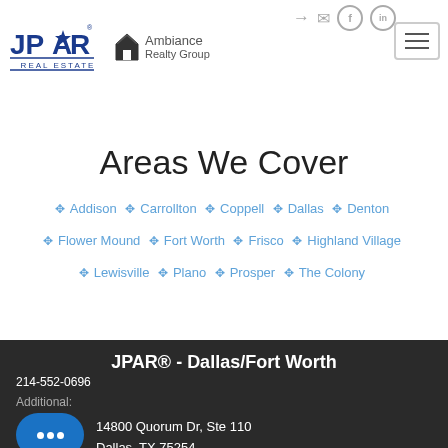[Figure (logo): JPAR Real Estate logo (blue text with star) and Ambiance Realty Group logo (house icon) in header]
Header navigation with icons and hamburger menu
Areas We Cover
Addison · Carrollton · Coppell · Dallas · Denton · Flower Mound · Fort Worth · Frisco · Highland Village · Lewisville · Plano · Prosper · The Colony
JPAR® - Dallas/Fort Worth
214-552-0696
Additional:
14800 Quorum Dr, Ste 110
Dallas, TX 75254